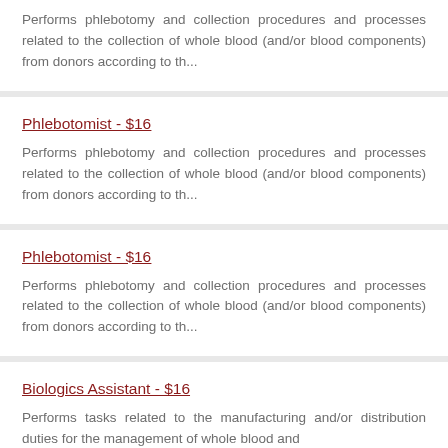Performs phlebotomy and collection procedures and processes related to the collection of whole blood (and/or blood components) from donors according to th...
Phlebotomist - $16
Performs phlebotomy and collection procedures and processes related to the collection of whole blood (and/or blood components) from donors according to th...
Phlebotomist - $16
Performs phlebotomy and collection procedures and processes related to the collection of whole blood (and/or blood components) from donors according to th...
Biologics Assistant - $16
Performs tasks related to the manufacturing and/or distribution duties for the management of whole blood and